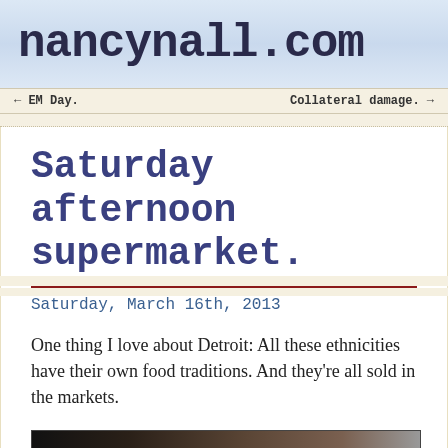nancynall.com
← EM Day.    Collateral damage. →
Saturday afternoon supermarket.
Saturday, March 16th, 2013
One thing I love about Detroit: All these ethnicities have their own food traditions. And they're all sold in the markets.
[Figure (photo): Bottom edge of a photo showing dark tones, partially visible at the bottom of the page]